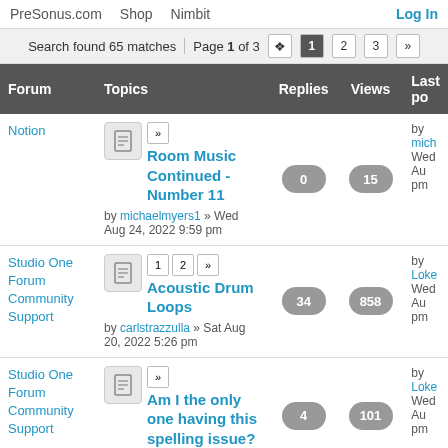PreSonus.com  Shop  Nimbit  Log In
Search found 65 matches  Page 1 of 3  1 2 3 »
| Forum | Topics | Replies | Views | Last po... |
| --- | --- | --- | --- | --- |
| Notion | Room Music Continued - Number 11
by michaelmyers1 » Wed Aug 24, 2022 9:59 pm | 0 | 15 | by mich... Wed Au... pm |
| Studio One Forum Community Support | Acoustic Drum Loops
by carlstrazzulla » Sat Aug 20, 2022 5:26 pm | 34 | 858 | by Loke... Wed Au... pm |
| Studio One Forum Community Support | Am I the only one having this spelling issue?
by kevinpadilla4 » Wed | 4 | 101 | by Loke... Wed Au... pm |